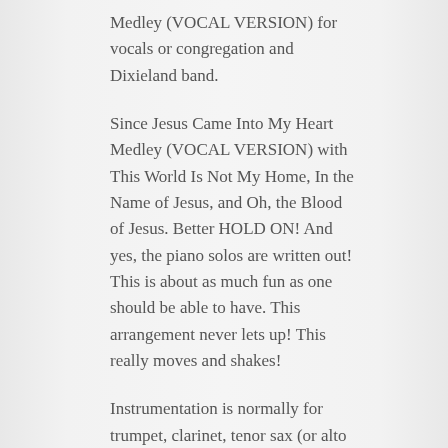Medley (VOCAL VERSION) for vocals or congregation and Dixieland band.
Since Jesus Came Into My Heart Medley (VOCAL VERSION) with This World Is Not My Home, In the Name of Jesus, and Oh, the Blood of Jesus. Better HOLD ON! And yes, the piano solos are written out! This is about as much fun as one should be able to have. This arrangement never lets up! This really moves and shakes!
Instrumentation is normally for trumpet, clarinet, tenor sax (or alto sax), trombone, baritone sax,